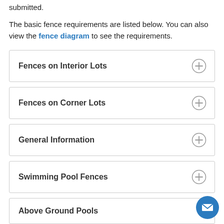submitted.
The basic fence requirements are listed below. You can also view the fence diagram to see the requirements.
Fences on Interior Lots
Fences on Corner Lots
General Information
Swimming Pool Fences
Above Ground Pools